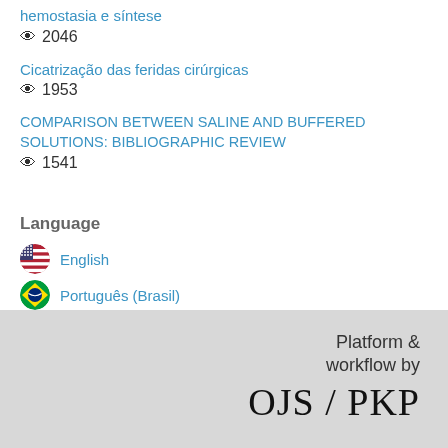hemostasia e síntese
👁 2046
Cicatrização das feridas cirúrgicas
👁 1953
COMPARISON BETWEEN SALINE AND BUFFERED SOLUTIONS: BIBLIOGRAPHIC REVIEW
👁 1541
Language
English
Português (Brasil)
Platform & workflow by OJS / PKP